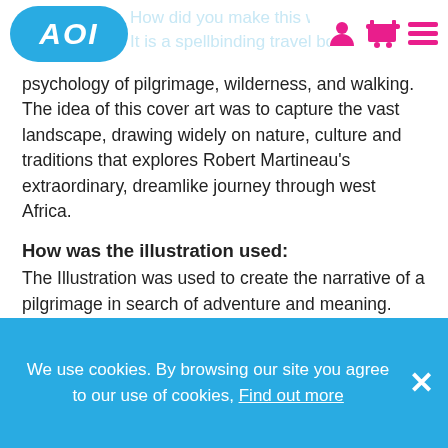AOI logo and navigation icons
psychology of pilgrimage, wilderness, and walking. The idea of this cover art was to capture the vast landscape, drawing widely on nature, culture and traditions that explores Robert Martineau's extraordinary, dreamlike journey through west Africa.
How was the illustration used:
The Illustration was used to create the narrative of a pilgrimage in search of adventure and meaning. The kaleidoscope of colours captures the vividness of the traditions and landscapes.
How did you make this work:
We use cookies. By browsing our site you agree to our use of cookies, Find out more